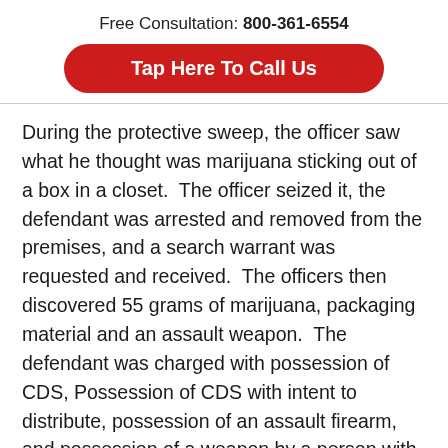Free Consultation: 800-361-6554
Tap Here To Call Us
During the protective sweep, the officer saw what he thought was marijuana sticking out of a box in a closet.  The officer seized it, the defendant was arrested and removed from the premises, and a search warrant was requested and received.  The officers then discovered 55 grams of marijuana, packaging material and an assault weapon.  The defendant was charged with possession of CDS, Possession of CDS with intent to distribute, possession of an assault firearm, and possession of a weapon by a person with a prior indictable conviction.
Continue reading ›